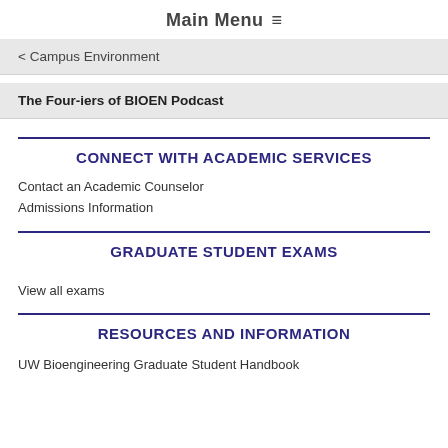Main Menu ≡
< Campus Environment
The Four-iers of BIOEN Podcast
CONNECT WITH ACADEMIC SERVICES
Contact an Academic Counselor
Admissions Information
GRADUATE STUDENT EXAMS
View all exams
RESOURCES AND INFORMATION
UW Bioengineering Graduate Student Handbook